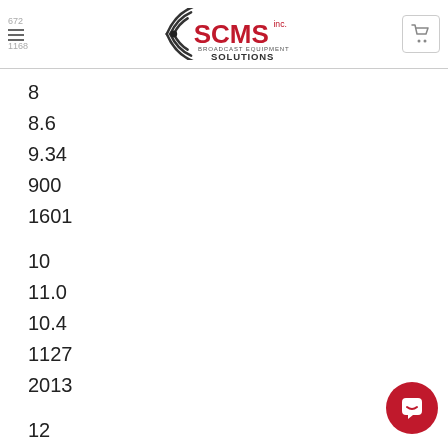672 1168 SCMS Inc. Broadcast Equipment Solutions
8
8.6
9.34
900
1601
10
11.0
10.4
1127
2013
12
13.2
11.2